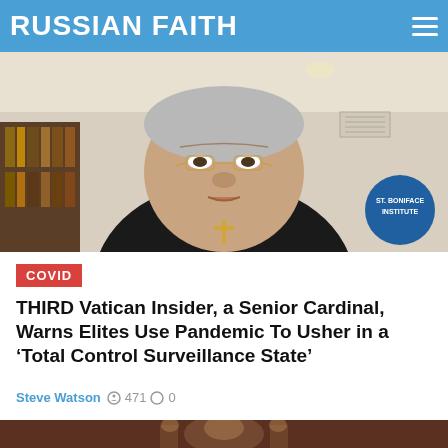RUSSIAN FAITH
[Figure (photo): Close-up video screenshot of a senior Catholic Cardinal in black vestments with a pectoral cross, speaking. Behind him is a bookshelf and a circular blue logo reading 'ST. BONIFACE INSTITUTE'. Setting appears to be a home office or library.]
COVID
THIRD Vatican Insider, a Senior Cardinal, Warns Elites Use Pandemic To Usher in a ‘Total Control Surveillance State’
Steve Watson • 471 ○ 0
[Figure (photo): Partial view of a second article's image, appearing to show a religious artwork or icon with figures, partially cropped at the bottom of the page.]